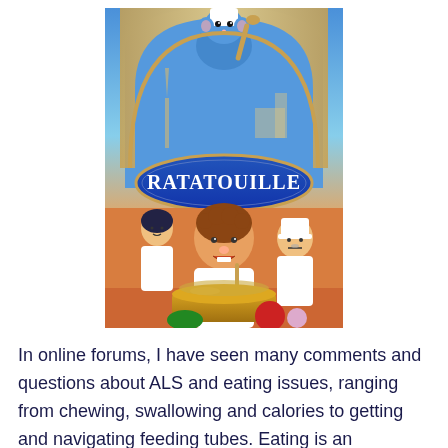[Figure (illustration): Movie poster for Ratatouille (Pixar/Disney animated film). Shows a blue cartoon rat wearing a chef's hat holding a wooden spoon at the top, with the title 'RATATOUILLE' on a blue oval emblem in the center. Below are animated human characters including a young man in chef whites in the foreground stirring a large golden pot, a woman in chef whites on the left, and an older man in chef whites on the right. The Paris skyline including the Eiffel Tower is visible in the background through a large arched window.]
In online forums, I have seen many comments and questions about ALS and eating issues, ranging from chewing, swallowing and calories to getting and navigating feeding tubes. Eating is an experience that